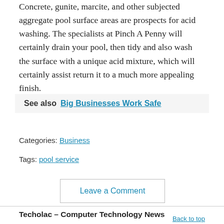Concrete, gunite, marcite, and other subjected aggregate pool surface areas are prospects for acid washing. The specialists at Pinch A Penny will certainly drain your pool, then tidy and also wash the surface with a unique acid mixture, which will certainly assist return it to a much more appealing finish.
See also  Big Businesses Work Safe
Categories: Business
Tags: pool service
Leave a Comment
Techolac – Computer Technology News
Back to top